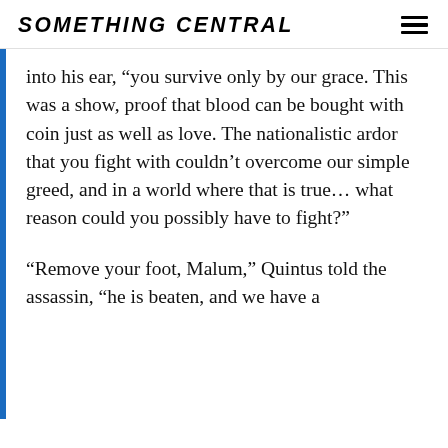SOMETHING CENTRAL
into his ear, “you survive only by our grace. This was a show, proof that blood can be bought with coin just as well as love. The nationalistic ardor that you fight with couldn’t overcome our simple greed, and in a world where that is true… what reason could you possibly have to fight?”
“Remove your foot, Malum,” Quintus told the assassin, “he is beaten, and we have a